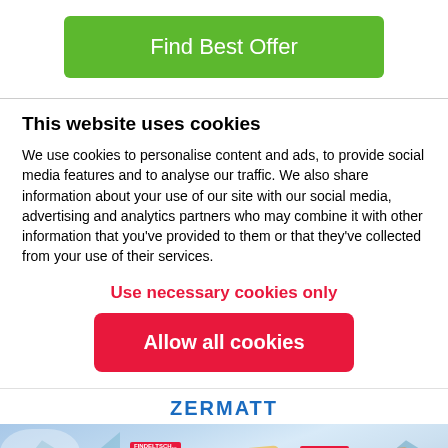[Figure (other): Green 'Find Best Offer' button]
This website uses cookies
We use cookies to personalise content and ads, to provide social media features and to analyse our traffic. We also share information about your use of our site with our social media, advertising and analytics partners who may combine it with other information that you've provided to them or that they've collected from your use of their services.
Use necessary cookies only
Allow all cookies
ZERMATT
[Figure (map): Zermatt ski resort map showing mountain terrain, roads, and location markers]